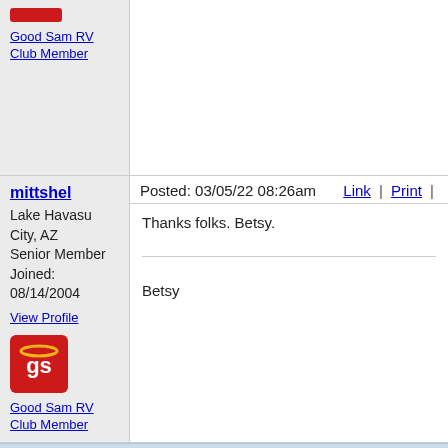Good Sam RV Club Member
mittshel
Lake Havasu City, AZ
Senior Member
Joined: 08/14/2004
View Profile
[Figure (logo): Good Sam RV Club badge logo - red square with 'gs' text]
Good Sam RV Club Member
Posted: 03/05/22 08:26am
Link | Print
Thanks folks. Betsy.

Betsy
JimR 1
Custer South Dakota
Senior Member
Posted: 03/05/22 09:48am
Link | Print
Gooma wrote:
What permits do GS insurance, hiring someone to...